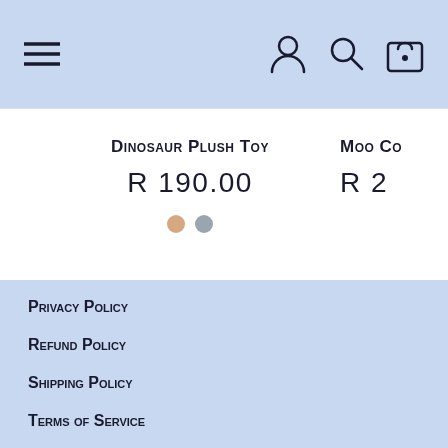Navigation bar with menu, user, search, and cart icons
Dinosaur Plush Toy
R 190.00
Moo Co...
R 2...
Privacy Policy
Refund Policy
Shipping Policy
Terms of Service
[Figure (other): Social media icons: Facebook and Instagram]